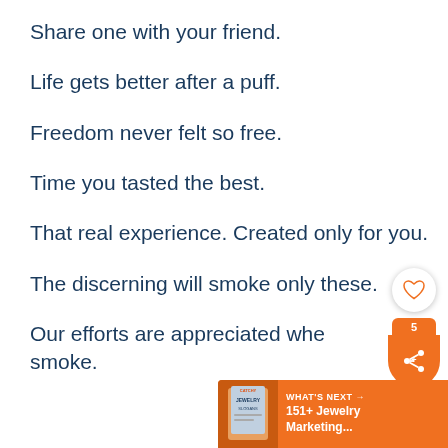Share one with your friend.
Life gets better after a puff.
Freedom never felt so free.
Time you tasted the best.
That real experience. Created only for you.
The discerning will smoke only these.
Our efforts are appreciated whe... smoke.
[Figure (infographic): Heart/like button, share count badge showing 5, and orange share button with network icon]
[Figure (infographic): Orange 'What's Next' banner in bottom right with '151+ Jewelry Marketing...' text and book thumbnail]